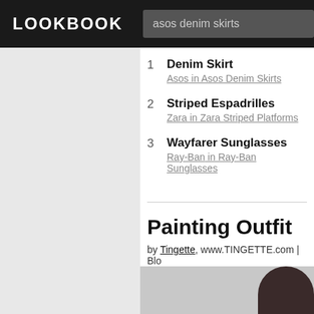LOOKBOOK | asos denim skirts
1 Denim Skirt — Asos in Asos Denim Skirts
2 Striped Espadrilles — Zara in Zara Striped Platforms
3 Wayfarer Sunglasses — Ray-Ban in Ray-Ban Sunglasses
Painting Outfit
by Tingette, www.TINGETTE.com | Blog London, United Kingdom
over 5 years ago · 2 comments
[Figure (photo): Partial view of a person with dark hair, bottom of page]